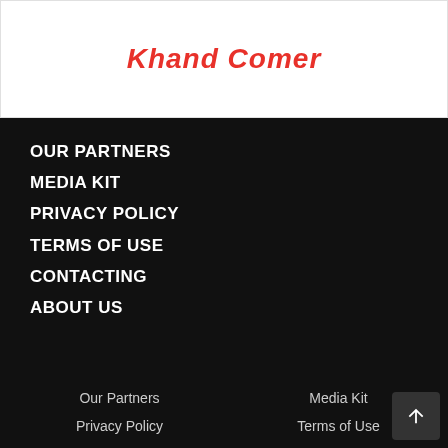Khand Comer
OUR PARTNERS
MEDIA KIT
PRIVACY POLICY
TERMS OF USE
CONTACTING
ABOUT US
Our Partners   Media Kit   Privacy Policy   Terms of Use